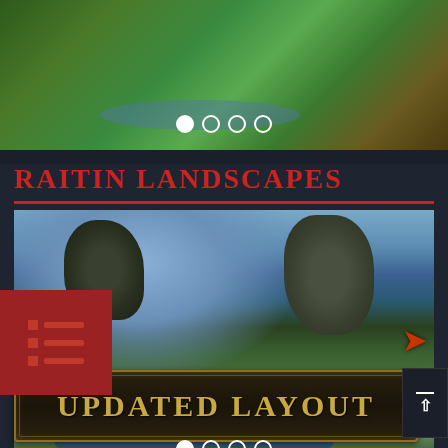[Figure (illustration): Fantasy landscape image carousel showing a lush green forest scene with river, with dot navigation indicators (1 filled, 3 empty)]
RAITIN LANDSCAPES
[Figure (illustration): Fantasy landscape image carousel showing floating rock formations, misty mountains, green hills, and a river/water at the bottom, with left/right navigation arrows and dot indicators (1 filled, 3 empty). A menu icon (list icon with red background) is overlaid on the left side.]
UPDATED LAYOUT